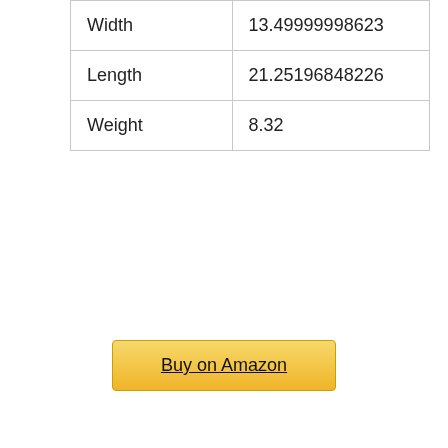| Width | 13.49999998623 |
| Length | 21.25196848226 |
| Weight | 8.32 |
Buy on Amazon
6. CREATIVE SPACE Artificial Grass Wall Panels Wedding Backdrop 12 PCS 20 x 20 Inch Boxwood Panels Privacy Hedge